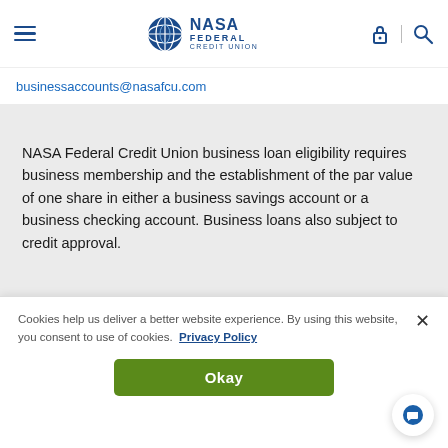NASA Federal Credit Union
businessaccounts@nasafcu.com
NASA Federal Credit Union business loan eligibility requires business membership and the establishment of the par value of one share in either a business savings account or a business checking account. Business loans also subject to credit approval.
Cookies help us deliver a better website experience. By using this website, you consent to use of cookies. Privacy Policy
Okay